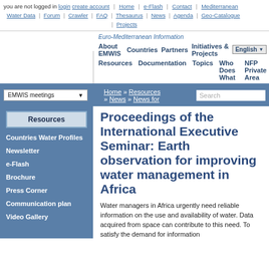you are not logged in login create account | Home | e-Flash | Contact | Mediterranean Water Data | Forum | Crawler | FAQ | Thesaurus | News | Agenda | Geo-Catalogue | Projects
Euro-Mediterranean Information
About EMWIS  Countries  Partners  Initiatives & Projects  English  Resources  Documentation  Topics  Who Does What  NFP Private Area
EMWIS meetings  Home » Resources » News » News for  Search
Resources
Countries Water Profiles
Newsletter
e-Flash
Brochure
Press Corner
Communication plan
Video Gallery
Proceedings of the International Executive Seminar: Earth observation for improving water management in Africa
Water managers in Africa urgently need reliable information on the use and availability of water. Data acquired from space can contribute to this need. To satisfy the demand for information